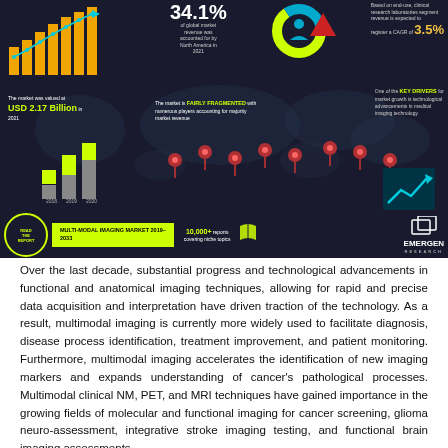[Figure (infographic): Multi-Modal Imaging Market infographic showing: 34.1% of global market revenue accounted for by North America in 2021; CAGR of 3.5% for clinical research laboratories segment; market valued at USD 2.17 Billion in 2021; market is FAIRLY FRAGMENTED; KEY DRIVERS include technological advancements in medical imaging technology; 10,000+ reports covering niche topics; bar chart showing market growth 2018-2020; world map with location pins; donut chart; EMERGEN RESEARCH logo; MULTI-MODAL IMAGING MARKET 2019-2033 report CTA]
Over the last decade, substantial progress and technological advancements in functional and anatomical imaging techniques, allowing for rapid and precise data acquisition and interpretation have driven traction of the technology. As a result, multimodal imaging is currently more widely used to facilitate diagnosis, disease process identification, treatment improvement, and patient monitoring. Furthermore, multimodal imaging accelerates the identification of new imaging markers and expands understanding of cancer's pathological processes. Multimodal clinical NM, PET, and MRI techniques have gained importance in the growing fields of molecular and functional imaging for cancer screening, glioma neuro-assessment, integrative stroke imaging testing, and functional brain imaging assessments.